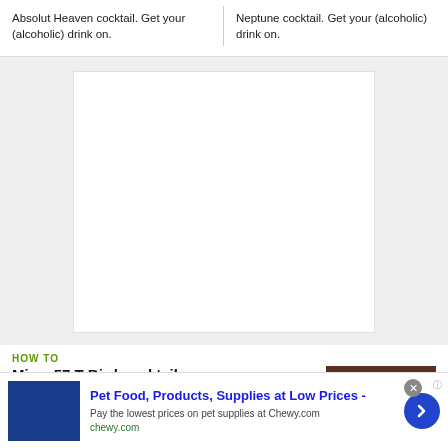Absolut Heaven cocktail. Get your (alcoholic) drink on.
Neptune cocktail. Get your (alcoholic) drink on.
[Figure (other): White blank rectangular image placeholder]
HOW TO
Mix a 57 T-Bird cocktail
[Figure (photo): Dark brownish photo thumbnail]
[Figure (infographic): Advertisement banner: Pet Food, Products, Supplies at Low Prices - Chewy.com. Pay the lowest prices on pet supplies at Chewy.com. chewy.com]